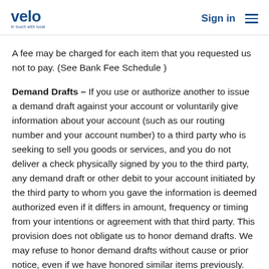velo | Sign in
A fee may be charged for each item that you requested us not to pay. (See Bank Fee Schedule )
Demand Drafts – If you use or authorize another to issue a demand draft against your account or voluntarily give information about your account (such as our routing number and your account number) to a third party who is seeking to sell you goods or services, and you do not deliver a check physically signed by you to the third party, any demand draft or other debit to your account initiated by the third party to whom you gave the information is deemed authorized even if it differs in amount, frequency or timing from your intentions or agreement with that third party. This provision does not obligate us to honor demand drafts. We may refuse to honor demand drafts without cause or prior notice, even if we have honored similar items previously. We are not under any obligation to verify whether the name or account number shown on the